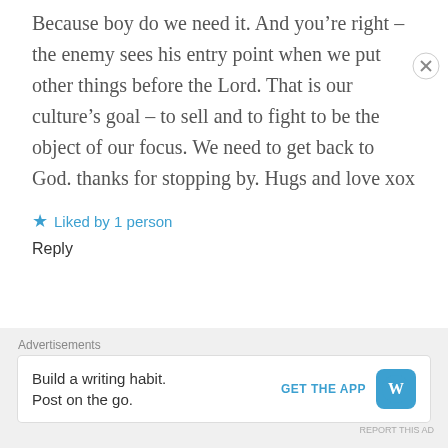Because boy do we need it. And you’re right – the enemy sees his entry point when we put other things before the Lord. That is our culture’s goal – to sell and to fight to be the object of our focus. We need to get back to God. thanks for stopping by. Hugs and love xox
Liked by 1 person
Reply
Advertisements
Build a writing habit. Post on the go.
GET THE APP